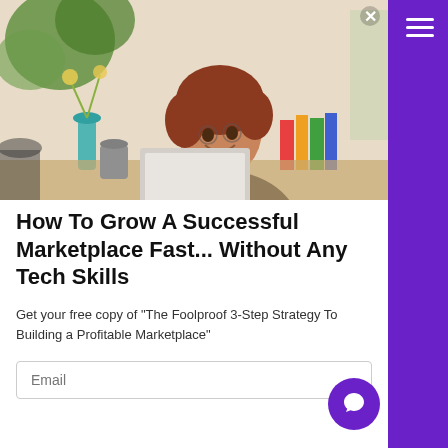[Figure (photo): Woman with reddish-brown hair smiling, sitting at a desk with plants and books in the background, working on a laptop in a bright home office]
How To Grow A Successful Marketplace Fast... Without Any Tech Skills
Get your free copy of "The Foolproof 3-Step Strategy To Building a Profitable Marketplace"